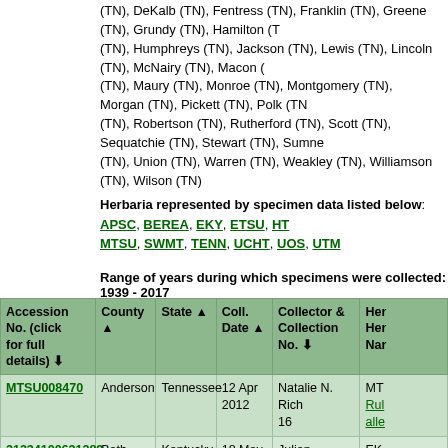(TN), DeKalb (TN), Fentress (TN), Franklin (TN), Greene (TN), Grundy (TN), Hamilton (TN), Humphreys (TN), Jackson (TN), Lewis (TN), Lincoln (TN), McNairy (TN), Macon (TN), Maury (TN), Monroe (TN), Montgomery (TN), Morgan (TN), Pickett (TN), Polk (TN), Robertson (TN), Rutherford (TN), Scott (TN), Sequatchie (TN), Stewart (TN), Sumner (TN), Union (TN), Warren (TN), Weakley (TN), Williamson (TN), Wilson (TN)
Herbaria represented by specimen data listed below: APSC, BEREA, EKY, ETSU, HTU, MTSU, SWMT, TENN, UCHT, UOS, UTM
Range of years during which specimens were collected: 1939 - 2017
| Accession No. (click for full details) | County | State | Coll. Date | Collector & Collection No. | Her... |
| --- | --- | --- | --- | --- | --- |
| MTSU008470 | Anderson | Tennessee | 12 Apr 2012 | Natalie N. Rich 16 | MT... |
| 31234100631389 | Bath | Kentucky | 18 May 1984 | Julian Campbell | EK... |
| 31234100631397 | Bath | Kentucky | 22 May 1984 | Julian Campbell | EK... |
| APSC0081154 | Bath | Kentucky | 09 Aug 1984 | Max Medley | AP... |